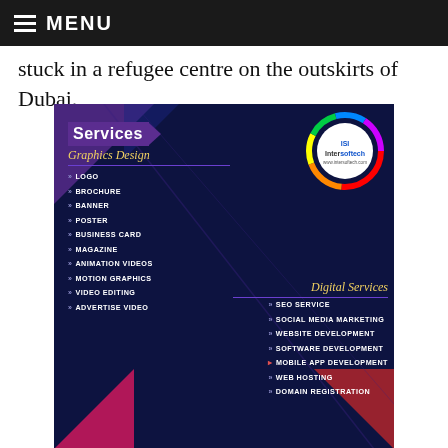MENU
stuck in a refugee centre on the outskirts of Dubai.
[Figure (infographic): Intersoftech company services advertisement showing dark blue background with graphics design services listed on the left (LOGO, BROCHURE, BANNER, POSTER, BUSINESS CARD, MAGAZINE, ANIMATION VIDEOS, MOTION GRAPHICS, VIDEO EDITING, ADVERTISE VIDEO) and digital services on the right (SEO SERVICE, SOCIAL MEDIA MARKETING, WEBSITE DEVELOPMENT, SOFTWARE DEVELOPMENT, MOBILE APP DEVELOPMENT, WEB HOSTING, DOMAIN REGISTRATION). Company logo circle with rainbow ring in top right. Purple/pink triangle decorations.]